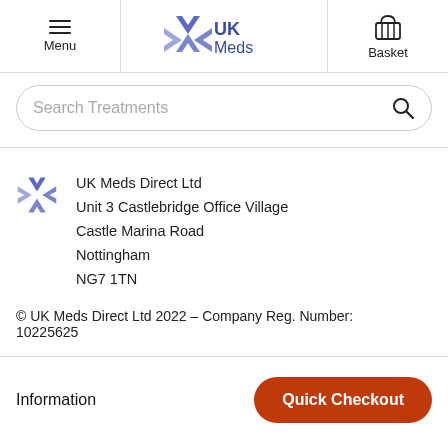Menu | UK Meds | Basket
Search Treatments
UK Meds Direct Ltd
Unit 3 Castlebridge Office Village
Castle Marina Road
Nottingham
NG7 1TN
© UK Meds Direct Ltd 2022 – Company Reg. Number: 10225625
Information
Quick Checkout